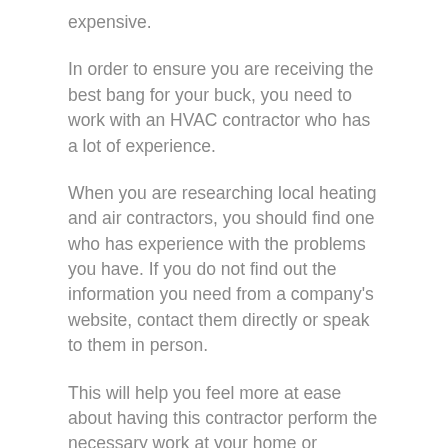expensive.
In order to ensure you are receiving the best bang for your buck, you need to work with an HVAC contractor who has a lot of experience.
When you are researching local heating and air contractors, you should find one who has experience with the problems you have. If you do not find out the information you need from a company's website, contact them directly or speak to them in person.
This will help you feel more at ease about having this contractor perform the necessary work at your home or business.